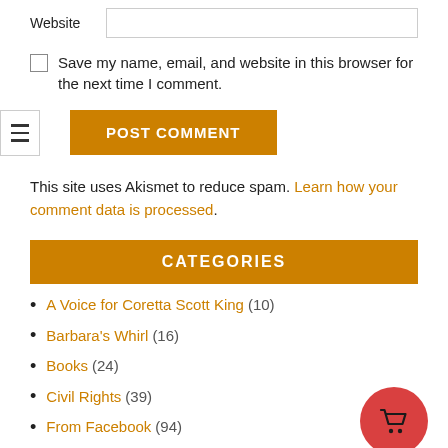Website
Save my name, email, and website in this browser for the next time I comment.
POST COMMENT
This site uses Akismet to reduce spam. Learn how your comment data is processed.
CATEGORIES
A Voice for Coretta Scott King (10)
Barbara's Whirl (16)
Books (24)
Civil Rights (39)
From Facebook (94)
Good News for You (5)